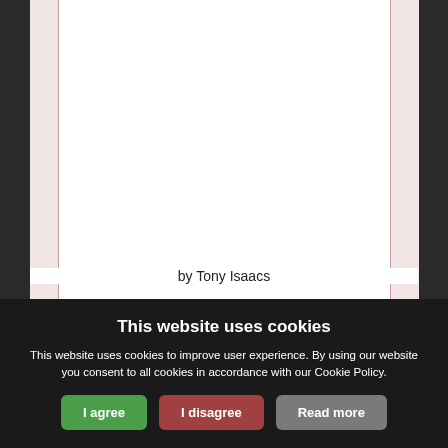[Figure (other): White document page with pink/red side margins, mostly blank content area]
by Tony Isaacs
This website uses cookies
This website uses cookies to improve user experience. By using our website you consent to all cookies in accordance with our Cookie Policy.
I agree | I disagree | Read more